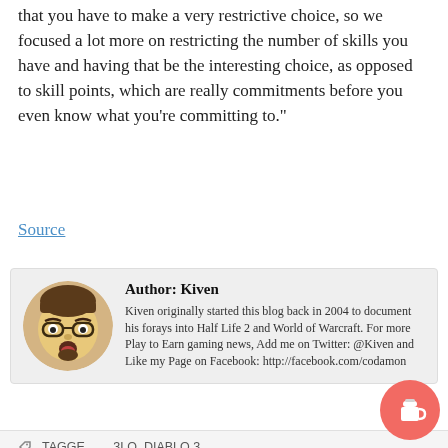that you have to make a very restrictive choice, so we focused a lot more on restricting the number of skills you have and having that be the interesting choice, as opposed to skill points, which are really commitments before you even know what you're committing to."
Source
Author: Kiven
Kiven originally started this blog back in 2004 to document his forays into Half Life 2 and World of Warcraft. For more Play to Earn gaming news, Add me on Twitter: @Kiven and Like my Page on Facebook: http://facebook.com/codamon
TAGGED ... BLO, DIABLO 3,
Thank you for visiting. Support me by donating through Buy Me A Coffee!
Final Fant ... ease
App Store →